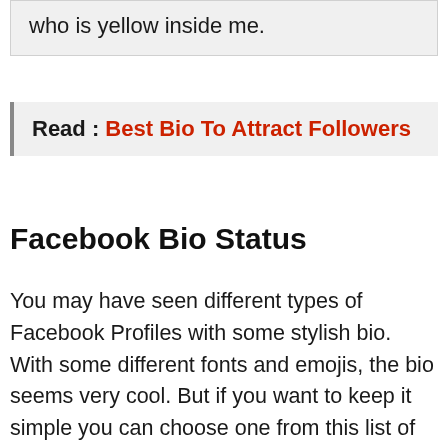who is yellow inside me.
Read : Best Bio To Attract Followers
Facebook Bio Status
You may have seen different types of Facebook Profiles with some stylish bio. With some different fonts and emojis, the bio seems very cool. But if you want to keep it simple you can choose one from this list of about me status or intro texts. Here you will have the best Facebook bio status to add to your profile. You can simply copy the text and save it in your notepad to add to